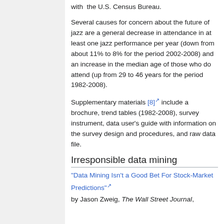with the U.S. Census Bureau.
Several causes for concern about the future of jazz are a general decrease in attendance in at least one jazz performance per year (down from about 11% to 8% for the period 2002-2008) and an increase in the median age of those who do attend (up from 29 to 46 years for the period 1982-2008).
Supplementary materials [8] include a brochure, trend tables (1982-2008), survey instrument, data user's guide with information on the survey design and procedures, and raw data file.
Irresponsible data mining
"Data Mining Isn't a Good Bet For Stock-Market Predictions"
by Jason Zweig, The Wall Street Journal,